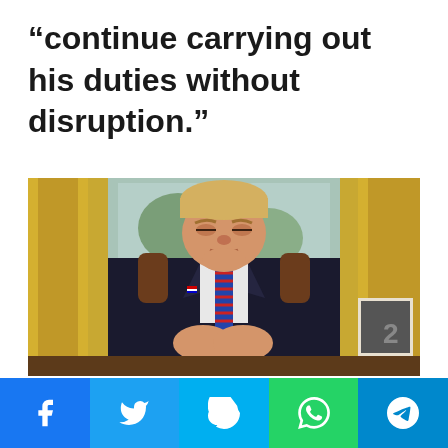“continue carrying out his duties without disruption.”
[Figure (photo): A man in a dark suit with a striped tie sits at a desk with his eyes closed and hands clasped together, in what appears to be the Oval Office with gold drapes in the background.]
Social share buttons: Facebook, Twitter, Skype, WhatsApp, Telegram